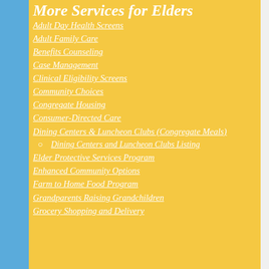More Services for Elders
Adult Day Health Screens
Adult Family Care
Benefits Counseling
Case Management
Clinical Eligibility Screens
Community Choices
Congregate Housing
Consumer-Directed Care
Dining Centers & Luncheon Clubs (Congregate Meals)
Dining Centers and Luncheon Clubs Listing
Elder Protective Services Program
Enhanced Community Options
Farm to Home Food Program
Grandparents Raising Grandchildren
Grocery Shopping and Delivery